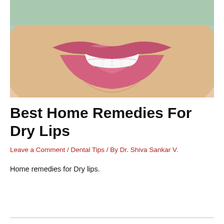[Figure (photo): Close-up photo of a woman smiling, showing teeth and pink/rose lipstick on lips, against a light mint-green background. Only the lower half of the face is visible.]
Best Home Remedies For Dry Lips
Leave a Comment / Dental Tips / By Dr. Shiva Sankar V.
Home remedies for Dry lips.